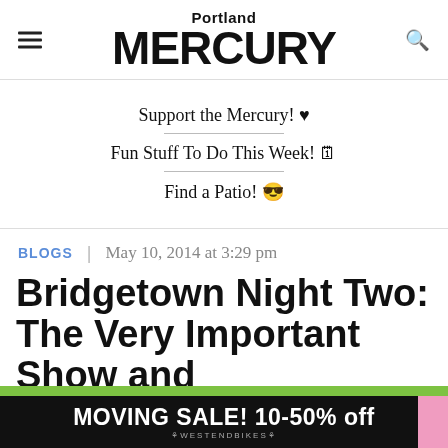Portland MERCURY
Support the Mercury! ♥
Fun Stuff To Do This Week! 🗓
Find a Patio! 😎
BLOGS | May 10, 2014 at 3:29 pm
Bridgetown Night Two: The Very Important Show and
[Figure (photo): Advertisement banner: MOVING SALE! 10-50% off - WESTENDBIKES]